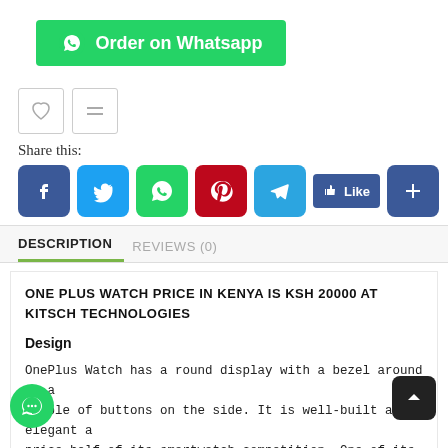[Figure (screenshot): Green 'Order on Whatsapp' button with WhatsApp icon]
[Figure (screenshot): Two icon buttons: heart (wishlist) and compare (equals sign)]
Share this:
[Figure (screenshot): Social sharing icons: Facebook, Twitter, WhatsApp, Pinterest, Telegram, Facebook Like button, and a blue plus button]
DESCRIPTION
REVIEWS (0)
ONE PLUS WATCH PRICE IN KENYA IS KSH 20000 AT KITSCH TECHNOLOGIES
Design
OnePlus Watch has a round display with a bezel around it a couple of buttons on the side. It is well-built and elegant a price half of its smartwatch competition. One of its side buttons